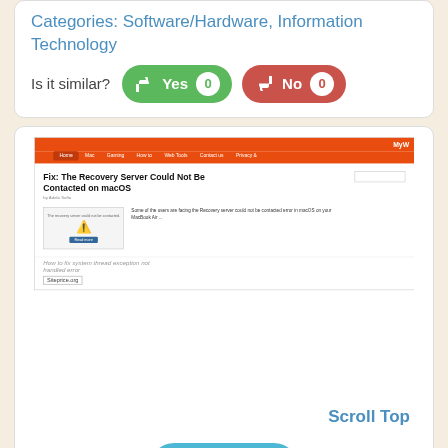Categories: Software/Hardware, Information Technology
Is it similar?   Yes 0   No 0
[Figure (screenshot): Screenshot of mywebtips.com article page titled 'Fix: The Recovery Server Could Not Be Contacted on macOS']
Scroll Top
Like 0
mywebtips.com (external link)